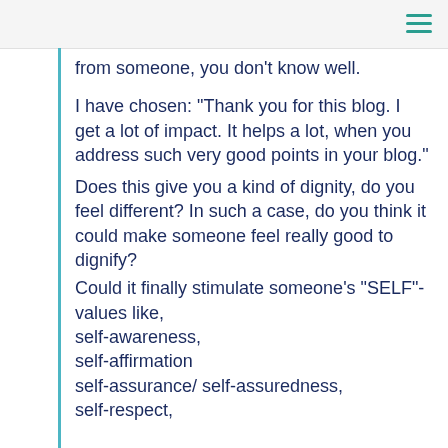from someone, you don't know well.
I have chosen: “Thank you for this blog. I get a lot of impact. It helps a lot, when you address such very good points in your blog.”
Does this give you a kind of dignity, do you feel different? In such a case, do you think it could make someone feel really good to dignify?
Could it finally stimulate someone’s “SELF”-values like,
self-awareness,
self-affirmation
self-assurance/ self-assuredness,
self-respect,